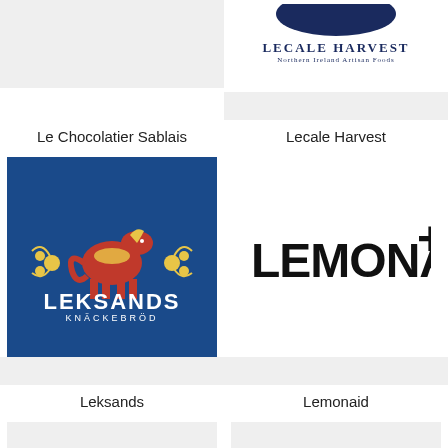[Figure (logo): Le Chocolatier Sablais logo - light gray background placeholder]
[Figure (logo): Lecale Harvest logo - dark blue shape at top, text LECALE HARVEST Northern Ireland Artisan Foods, light gray bottom]
Le Chocolatier Sablais
Lecale Harvest
[Figure (logo): Leksands Knäckebröd logo - blue square background with red Dalecarlian horse, floral decorations, white text LEKSANDS KNÄCKEBRÖD, light gray bottom]
[Figure (logo): Lemonaid+ logo - white background with black bold text LEMONAID+, light gray bottom strip]
Leksands
Lemonaid
[Figure (logo): Partial logo cell bottom left - light gray]
[Figure (logo): Partial logo cell bottom right - light gray]